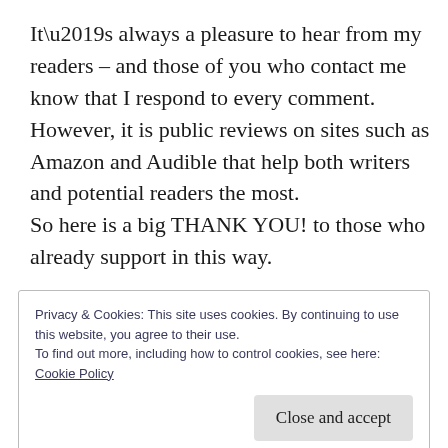It’s always a pleasure to hear from my readers – and those of you who contact me know that I respond to every comment. However, it is public reviews on sites such as Amazon and Audible that help both writers and potential readers the most.
So here is a big THANK YOU! to those who already support in this way.
Privacy & Cookies: This site uses cookies. By continuing to use this website, you agree to their use.
To find out more, including how to control cookies, see here:
Cookie Policy
Close and accept